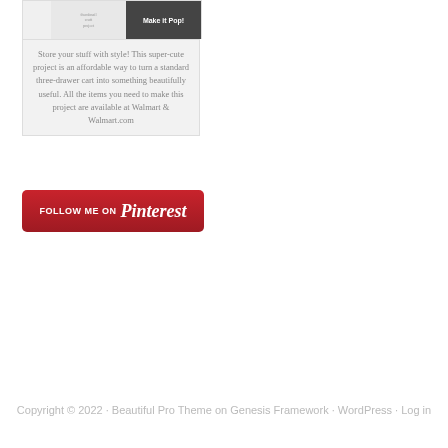[Figure (screenshot): A card widget showing a craft/DIY project image on the left (faint thumbnail) and a dark image with 'Make it Pop!' text on the right]
Store your stuff with style! This super-cute project is an affordable way to turn a standard three-drawer cart into something beautifully useful. All the items you need to make this project are available at Walmart & Walmart.com
[Figure (logo): Red Pinterest 'Follow Me On Pinterest' button]
Copyright © 2022 · Beautiful Pro Theme on Genesis Framework · WordPress · Log in